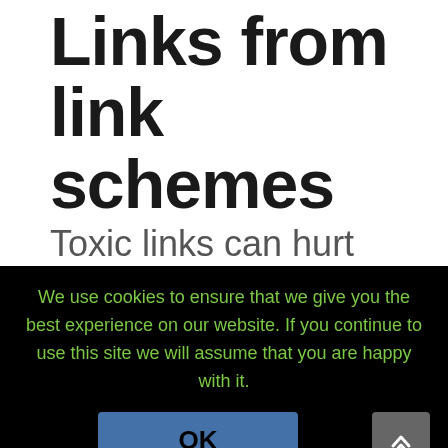Links from link schemes
Toxic links can hurt your ranking in the search engines. However, you can remove them by taking steps to avoid them. These steps include emailing the webmaster or website owner and
We use cookies to ensure that we give you the best experience on our website. If you continue to use this site we will assume that you are happy with it.
OK